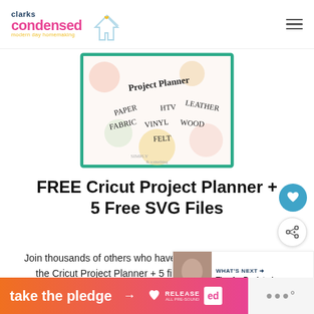clarks condensed - modern day homemaking
[Figure (illustration): Cricut Project Planner product image with teal border, showing words PAPER, HTV, LEATHER, FABRIC, VINYL, WOOD, FELT on pastel polka dot background]
FREE Cricut Project Planner + 5 Free SVG Files
Join thousands of others who have mastered their Cricut with the Cricut Project Planner + 5 files (and new ones every month)!
[Figure (infographic): WHAT'S NEXT banner with thumbnail image and text: Tips for Registering...]
[Figure (infographic): Bottom banner: take the pledge → RELEASE ed logo, with grey section on the right]